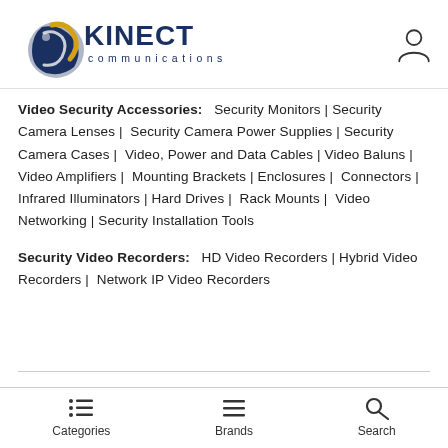[Figure (logo): Kinect Communications LLC logo with swirl graphic and user account icon]
Video Security Accessories: Security Monitors | Security Camera Lenses | Security Camera Power Supplies | Security Camera Cases | Video, Power and Data Cables | Video Baluns | Video Amplifiers | Mounting Brackets | Enclosures | Connectors | Infrared Illuminators | Hard Drives | Rack Mounts | Video Networking | Security Installation Tools
Security Video Recorders: HD Video Recorders | Hybrid Video Recorders | Network IP Video Recorders
Categories  Brands  Search